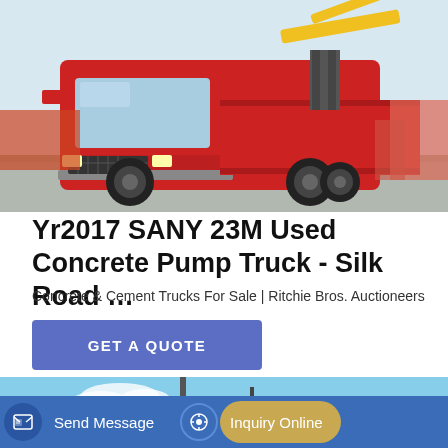[Figure (photo): A red SANY truck with a yellow crane arm mounted on it, parked in a yard. Other trucks visible in background.]
Yr2017 SANY 23M Used Concrete Pump Truck - Silk Road …
Concrete & Cement Trucks For Sale | Ritchie Bros. Auctioneers
GET A QUOTE
[Figure (photo): Partial view of another truck/vehicle against a blue sky background.]
Send Message
Inquiry Online